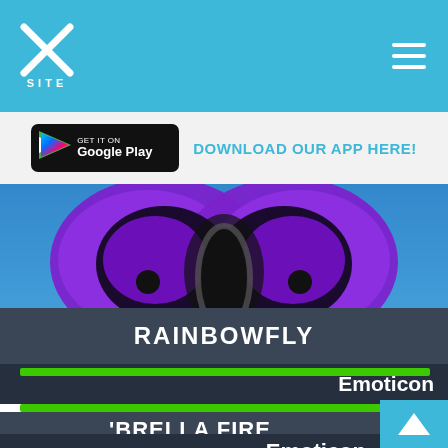XSITE
DOWNLOAD OUR APP HERE!
[Figure (screenshot): Butterfly emoticon with purple wings on a blue background from a game]
RAINBOWFLY
Emoticon
'BRELLA FIRE
Emoticon